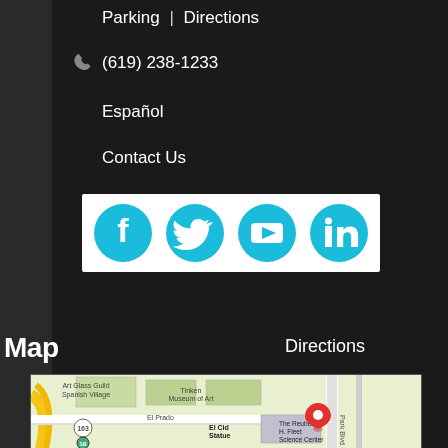Parking | Directions
(619) 238-1233
Español
Contact Us
[Figure (illustration): Social media icons bar: Facebook, Twitter, YouTube, LinkedIn — cyan circular icons on white background]
Map
Directions
[Figure (map): Google Maps screenshot showing Balboa Park area, San Diego. Landmarks include Art Glass Guild Spanish Village, Tinken Museum of Art, El Prado, El Cid Statue, The Reuben H. Fleet Science Center, Park Blvd. A red location pin is placed near The Reuben H. Fleet Science Center. Route 163 and Route 1B markers visible.]